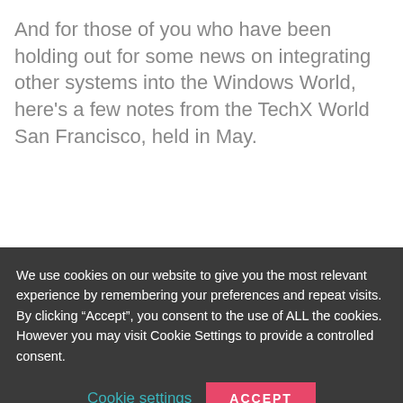And for those of you who have been holding out for some news on integrating other systems into the Windows World, here’s a few notes from the TechX World San Francisco, held in May.
We use cookies on our website to give you the most relevant experience by remembering your preferences and repeat visits. By clicking “Accept”, you consent to the use of ALL the cookies. However you may visit Cookie Settings to provide a controlled consent.
Cookie settings
ACCEPT
Translate »
Share This
×